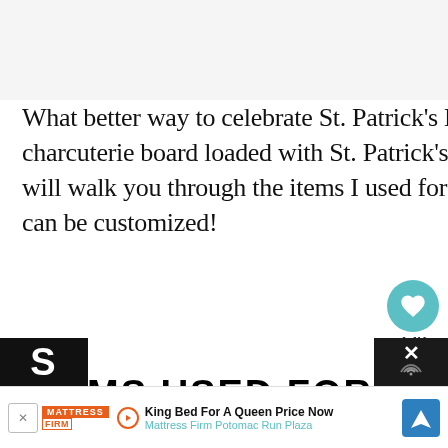What better way to celebrate St. Patrick's Day than with a St. Patrick's Day charcuterie board loaded with St. Patrick's day inspired foods! This tutorial will walk you through the items I used for this board, but of course, any board can be customized!
ITEMS USED FOR THIS
[Figure (screenshot): Social interaction buttons: heart/like button showing 4.4K likes, and a share button]
[Figure (screenshot): What's Next widget showing a thumbnail image and text 'Memorial Day Charcuterie...']
[Figure (screenshot): Advertisement banner for Mattress Firm Potomac Run Plaza: 'King Bed For A Queen Price Now' with navigation button]